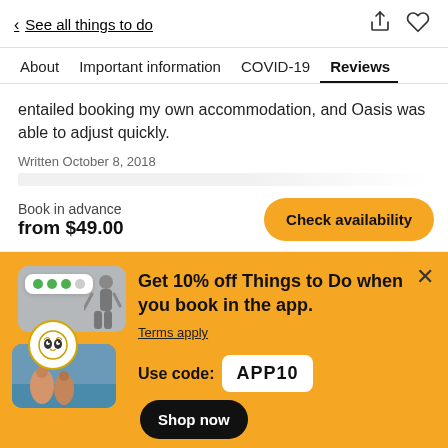< See all things to do
About  Important information  COVID-19  Reviews
entailed booking my own accommodation, and Oasis was able to adjust quickly.
Written October 8, 2018
Book in advance
from $49.00
[Figure (screenshot): Check availability button (yellow/amber rounded button)]
[Figure (infographic): TripAdvisor app promotion banner with photos of activities, owl logo, promo code APP10 and Shop now button on yellow/amber background]
Get 10% off Things to Do when you book in the app.
Terms apply
Use code: APP10
Shop now